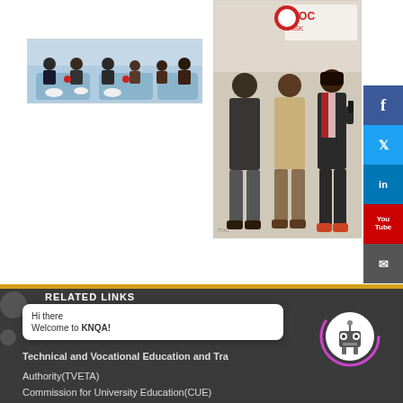[Figure (photo): Group of people seated at tables during a formal event or meeting, with blue tablecloths and red chairs]
[Figure (photo): Three people standing in front of a branded TOC/iSK banner background; a woman on right appears to be speaking]
[Figure (screenshot): Social media share buttons: Facebook, Twitter, LinkedIn, YouTube, Email on right side]
RELATED LINKS
Hi there
Welcome to KNQA!
Technical and Vocational Education and Training Authority(TVETA)
Commission for University Education(CUE)